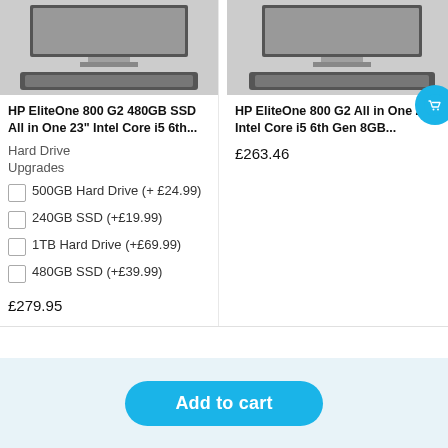[Figure (photo): HP EliteOne 800 G2 all-in-one desktop computer with monitor and keyboard, left product image]
[Figure (photo): HP EliteOne 800 G2 all-in-one desktop computer with monitor and keyboard, right product image]
HP EliteOne 800 G2 480GB SSD All in One 23" Intel Core i5 6th...
HP EliteOne 800 G2 All in One 23" Intel Core i5 6th Gen 8GB...
Hard Drive Upgrades
500GB Hard Drive (+ £24.99)
240GB SSD (+£19.99)
1TB Hard Drive (+£69.99)
480GB SSD (+£39.99)
£279.95
£263.46
Add to cart